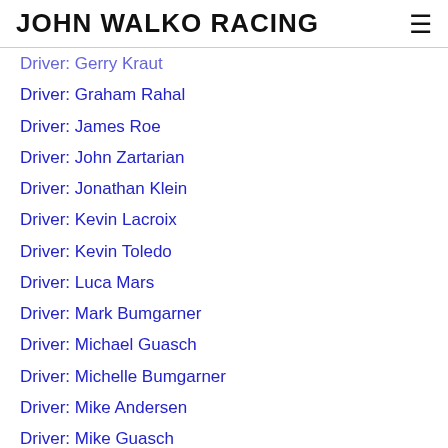JOHN WALKO RACING
Driver: Gerry Kraut
Driver: Graham Rahal
Driver: James Roe
Driver: John Zartarian
Driver: Jonathan Klein
Driver: Kevin Lacroix
Driver: Kevin Toledo
Driver: Luca Mars
Driver: Mark Bumgarner
Driver: Michael Guasch
Driver: Michelle Bumgarner
Driver: Mike Andersen
Driver: Mike Guasch
Driver: Mike Hill
Driver: Pablo Donoso
Driver: Ramiro Scuncio
Driver: Robbie Pecorari